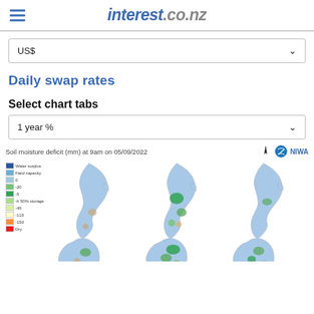interest.co.nz
US$
Daily swap rates
Select chart tabs
1 year %
[Figure (map): Soil moisture deficit (mm) at 9am on 05/09/2022 — three maps of New Zealand showing soil moisture conditions with color legend from blue (water surplus/field capacity) through green (50% storage) to red (dry). NIWA branding top right.]